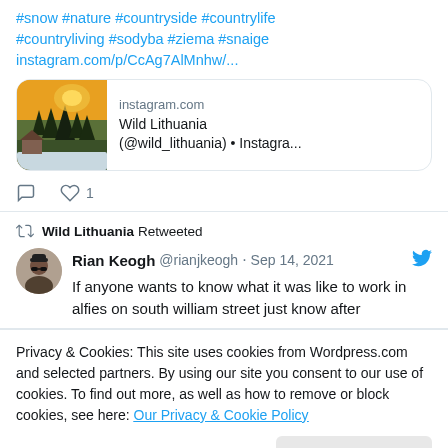#snow #nature #countryside #countrylife #countryliving #sodyba #ziema #snaige instagram.com/p/CcAg7AlMnhw/...
[Figure (screenshot): Instagram link card showing a winter landscape photo with orange sunset sky and snow-covered trees. Shows 'instagram.com' domain, title 'Wild Lithuania (@wild_lithuania) • Instagra...']
comment icon, heart icon, 1 like
Wild Lithuania Retweeted
Rian Keogh @rianjkeogh · Sep 14, 2021 — If anyone wants to know what it was like to work in alfies on south william street just know after
Privacy & Cookies: This site uses cookies from Wordpress.com and selected partners. By using our site you consent to our use of cookies. To find out more, as well as how to remove or block cookies, see here: Our Privacy & Cookie Policy
[Figure (photo): Partial bottom image showing people, cropped]